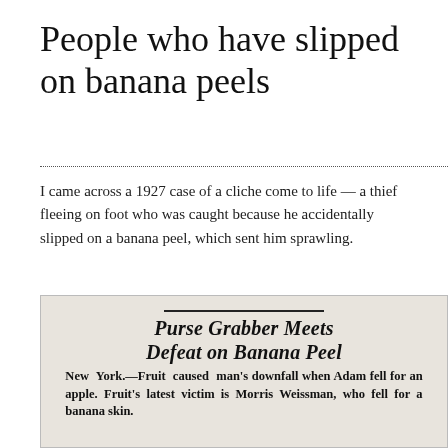People who have slipped on banana peels
I came across a 1927 case of a cliche come to life — a thief fleeing on foot who was caught because he accidentally slipped on a banana peel, which sent him sprawling.
[Figure (photo): Newspaper clipping with headline 'Purse Grabber Meets Defeat on Banana Peel' and body text beginning 'New York.—Fruit caused man's downfall when Adam fell for an apple. Fruit's latest victim is Morris Weissman, who fell for a banana skin.']